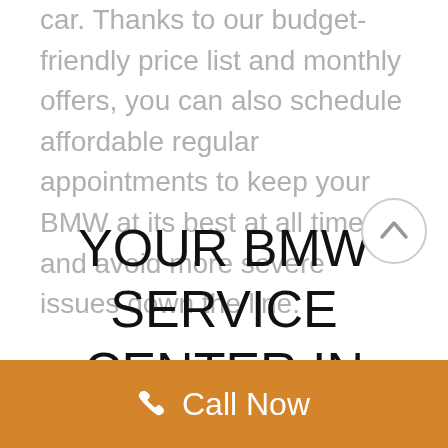car. Thanks to our budget-friendly price list and monthly offers, you can also schedule affordable regular appointments to keep your BMW at its best at all times and avoid more severe issues down the line.
YOUR BMW SERVICE CENTER IN BATAVIA, IL
[Figure (other): Circular scroll-to-top button with an upward arrow, gray border and white background]
Call Now